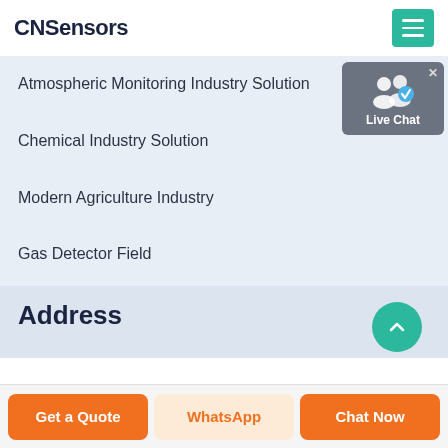CNSensors
Atmospheric Monitoring Industry Solution
Chemical Industry Solution
Modern Agriculture Industry
Gas Detector Field
IAQ- Smart Home Industry
Combustible Gas Detection Industry
Address
[Figure (infographic): Live Chat widget with two person icons and a blue checkmark badge, labeled 'Live Chat']
Get a Quote | WhatsApp | Chat Now